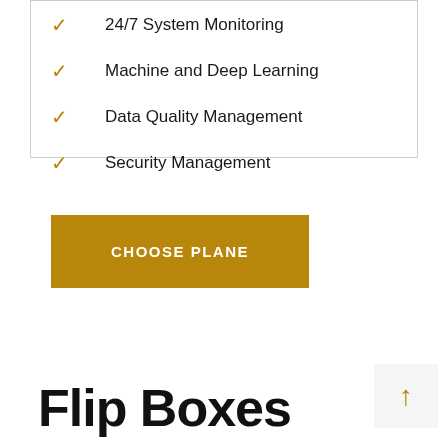24/7 System Monitoring
Machine and Deep Learning
Data Quality Management
Security Management
CHOOSE PLANE
Flip Boxes